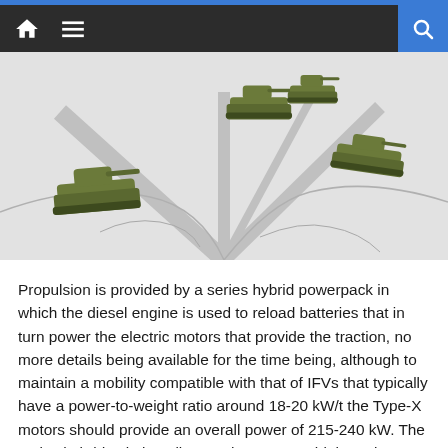Navigation bar with home, menu, and search icons
[Figure (illustration): Illustration of multiple military armored vehicles (tanks/IFVs) moving across terrain, shown from an elevated perspective. Vehicles are rendered in olive/military green color against a white/grey terrain background.]
Propulsion is provided by a series hybrid powerpack in which the diesel engine is used to reload batteries that in turn power the electric motors that provide the traction, no more details being available for the time being, although to maintain a mobility compatible with that of IFVs that typically have a power-to-weight ratio around 18-20 kW/t the Type-X motors should provide an overall power of 215-240 kW. The series hybrid solution allows to have a very high peak power capacity and reduces fuel consumption even more than the parallel solution, where the electric component adds its power to that of the diesel. The engine is fitted at the back, thus sprockets will also be at the back as in most